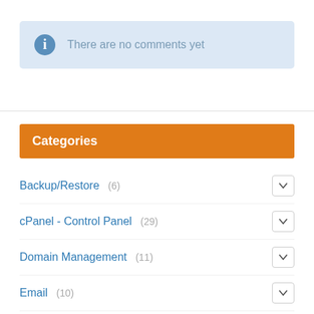There are no comments yet
Categories
Backup/Restore (6)
cPanel - Control Panel (29)
Domain Management (11)
Email (10)
Exim Mail Filters & SPAM (9)